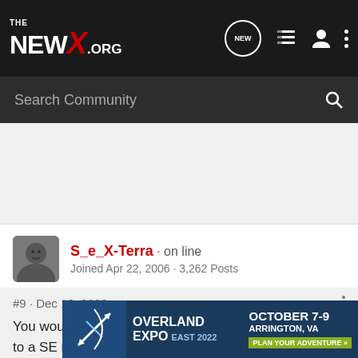THE NEWX.ORG
Search Community
[Figure (screenshot): User avatar photo showing a person wearing glasses]
S_e_X-Terra · on line
Joined Apr 22, 2006 · 3,262 Posts
#9 · Dec 16, 2006
You would think that the leather interior would be done to a SE model not a S, but i guess with $2000 extra cost the SE model would not look as tempting.
[Figure (infographic): Advertisement banner for Overland Expo East 2022, October 7-9, Arrington, VA. Plan Your Adventure.]